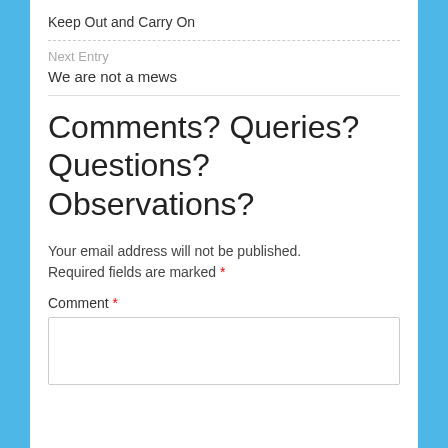Keep Out and Carry On
Next Entry
We are not a mews
Comments? Queries? Questions? Observations?
Your email address will not be published. Required fields are marked *
Comment *